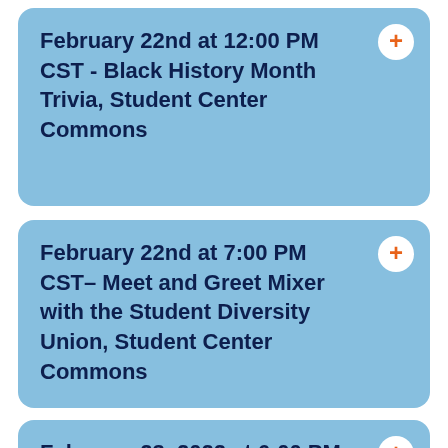February 22nd at 12:00 PM CST - Black History Month Trivia, Student Center Commons
February 22nd at 7:00 PM CST– Meet and Greet Mixer with the Student Diversity Union, Student Center Commons
February 23, 2022 at 6:00 PM CST - Alumni Speaker Series